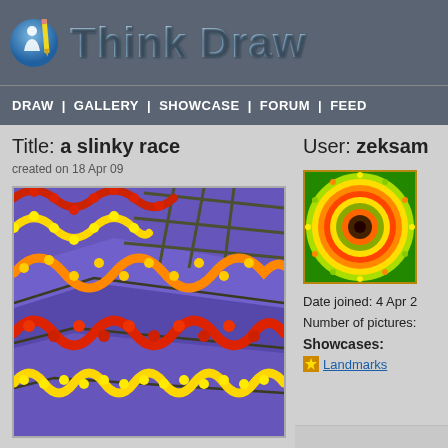[Figure (logo): iThinkDraw website logo with blue circular icon containing a person figure and pencil, with stylized blue-grey gradient text 'Think Draw']
DRAW | GALLERY | SHOWCASE | FORUM | FEED
Title: a slinky race
created on 18 Apr 09
[Figure (illustration): Digital artwork showing colorful slinky-like waves in red, yellow, and orange on a purple background with dark olive grid lines - titled 'a slinky race']
User: zeksam
[Figure (illustration): Circular spiral artwork in yellow, orange, red and green colors - user profile artwork thumbnail]
Date joined: 4 Apr 2
Number of pictures:
Showcases:
Landmarks